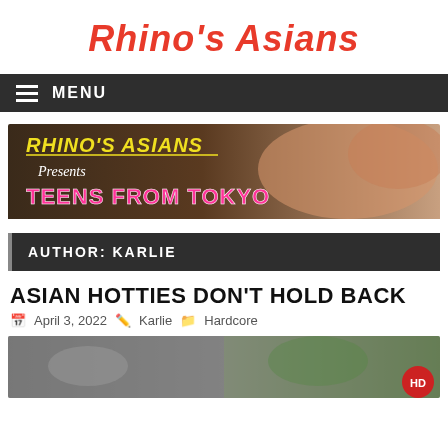Rhino's Asians
MENU
[Figure (illustration): Rhino's Asians website banner showing 'Rhino's Asians Presents Teens From Tokyo' text overlay on a photo]
AUTHOR: KARLIE
ASIAN HOTTIES DON'T HOLD BACK
April 3, 2022  Karlie  Hardcore
[Figure (photo): Thumbnail photo with HD badge in bottom right corner]